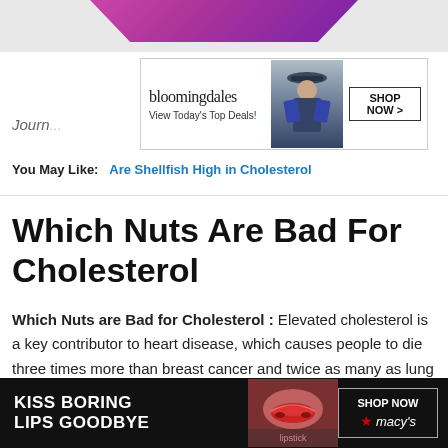[Figure (photo): Top banner with pink/purple gradient shape on grey background]
[Figure (photo): Bloomingdales advertisement banner: logo, 'View Today's Top Deals!', model in hat, 'SHOP NOW >' button]
Journ...
You May Like: Are Shellfish High in Cholesterol
Which Nuts Are Bad For Cholesterol
Which Nuts are Bad for Cholesterol : Elevated cholesterol is a key contributor to heart disease, which causes people to die three times more than breast cancer and twice as many as lung cancer. But whats important is that lowering blood cholesterol is the biggest benefit a person can d...duce their ri...
[Figure (photo): Macy's advertisement: 'KISS BORING LIPS GOODBYE', 'SHOP NOW' button with Macy's star logo, model with red lips, dark background]